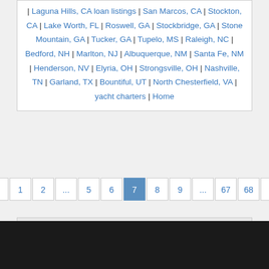| Laguna Hills, CA loan listings | San Marcos, CA | Stockton, CA | Lake Worth, FL | Roswell, GA | Stockbridge, GA | Stone Mountain, GA | Tucker, GA | Tupelo, MS | Raleigh, NC | Bedford, NH | Marlton, NJ | Albuquerque, NM | Santa Fe, NM | Henderson, NV | Elyria, OH | Strongsville, OH | Nashville, TN | Garland, TX | Bountiful, UT | North Chesterfield, VA | yacht charters | Home
Pagination: « 1 2 ... 5 6 7 8 9 ... 67 68 »